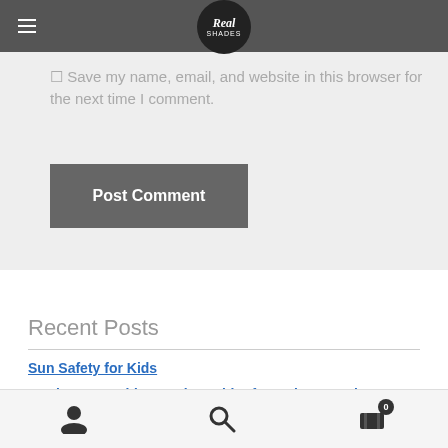Real Shades navigation bar with hamburger menu and logo
Save my name, email, and website in this browser for the next time I comment.
Post Comment
Recent Posts
Sun Safety for Kids
Getting Your Kids Into the Habit of Wearing Sunglasses
Navigation icons: user, search, cart (0)